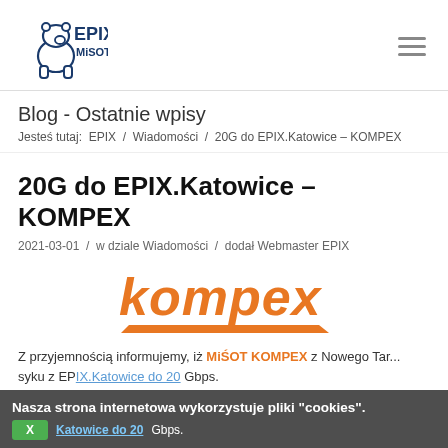[Figure (logo): EPIX MiSOT logo — polar bear outline with 'EPIX' in dark blue bold text and 'MiSOT' below in smaller text]
Blog - Ostatnie wpisy
Jesteś tutaj:  EPIX  /  Wiadomości  /  20G do EPIX.Katowice – KOMPEX
20G do EPIX.Katowice – KOMPEX
2021-03-01  /  w dziale Wiadomości  /  dodał Webmaster EPIX
[Figure (logo): Kompex logo — orange bold italic lowercase text 'kompex' with an orange parallelogram underline/swoosh]
Z przyjemnością informujemy, iż MiŚOT KOMPEX z Nowego Targ... syku z EPIX.Katowice do 20 Gbps.